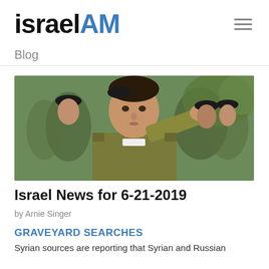israelAM
Blog
[Figure (photo): An Israeli soldier in military uniform saluting, with other soldiers in the background out of focus.]
Israel News for 6-21-2019
by Arnie Singer
GRAVEYARD SEARCHES
Syrian sources are reporting that Syrian and Russian